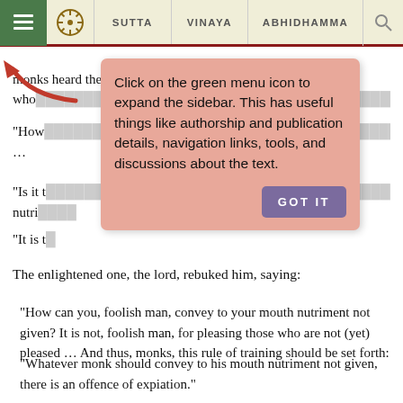SUTTA | VINAYA | ABHIDHAMMA
monks heard these these people who … spread it about. Those who … ying:
“How … nt not given?" …
“Is it t … to your mouth nutri …
“It is t …
[Figure (screenshot): Tooltip popup with arrow pointing to green menu icon. Text reads: 'Click on the green menu icon to expand the sidebar. This has useful things like authorship and publication details, navigation links, tools, and discussions about the text.' with a 'GOT IT' button.]
The enlightened one, the lord, rebuked him, saying:
“How can you, foolish man, convey to your mouth nutriment not given? It is not, foolish man, for pleasing those who are not (yet) pleased … And thus, monks, this rule of training should be set forth:
“Whatever monk should convey to his mouth nutriment not given, there is an offence of expiation.”